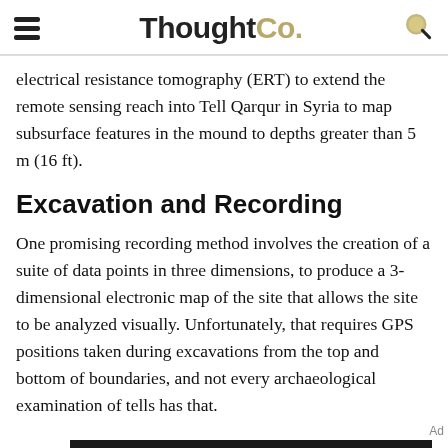ThoughtCo.
electrical resistance tomography (ERT) to extend the remote sensing reach into Tell Qarqur in Syria to map subsurface features in the mound to depths greater than 5 m (16 ft).
Excavation and Recording
One promising recording method involves the creation of a suite of data points in three dimensions, to produce a 3-dimensional electronic map of the site that allows the site to be analyzed visually. Unfortunately, that requires GPS positions taken during excavations from the top and bottom of boundaries, and not every archaeological examination of tells has that.
[Figure (infographic): Dotdash Meredith advertisement banner with text 'We help people find answers, solve problems and get inspired.' and Dotdash Meredith logo on dark background]